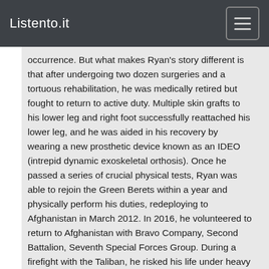Listento.it
occurrence. But what makes Ryan's story different is that after undergoing two dozen surgeries and a tortuous rehabilitation, he was medically retired but fought to return to active duty. Multiple skin grafts to his lower leg and right foot successfully reattached his lower leg, and he was aided in his recovery by wearing a new prosthetic device known as an IDEO (intrepid dynamic exoskeletal orthosis). Once he passed a series of crucial physical tests, Ryan was able to rejoin the Green Berets within a year and physically perform his duties, redeploying to Afghanistan in March 2012. In 2016, he volunteered to return to Afghanistan with Bravo Company, Second Battalion, Seventh Special Forces Group. During a firefight with the Taliban, he risked his life under heavy enemy fire to rescue three Afghan soldiers cut off from friendly forces and return the bodies of two dead Afghan soldiers under the ethos that "no one gets left behind". For his heroic efforts